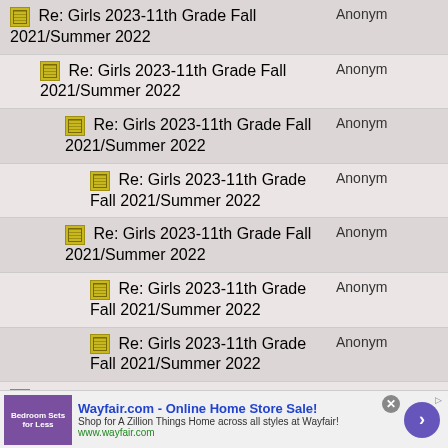| Subject | Author |
| --- | --- |
| Re: Girls 2023-11th Grade Fall 2021/Summer 2022 | Anonym |
| Re: Girls 2023-11th Grade Fall 2021/Summer 2022 | Anonym |
| Re: Girls 2023-11th Grade Fall 2021/Summer 2022 | Anonym |
| Re: Girls 2023-11th Grade Fall 2021/Summer 2022 | Anonym |
| Re: Girls 2023-11th Grade Fall 2021/Summer 2022 | Anonym |
| Re: Girls 2023-11th Grade Fall 2021/Summer 2022 | Anonym |
| Re: Girls 2023-11th Grade Fall 2021/Summer 2022 | Anonym |
| Re: Girls 2023-11th Grade Fall 2021/Summer 2022 | Anonym |
| Re: Girls 2023-11th Grade Fall 2021/Summer 2022 | Anonym |
[Figure (other): Wayfair.com advertisement banner: 'Wayfair.com - Online Home Store Sale! Shop for A Zillion Things Home across all styles at Wayfair! www.wayfair.com']